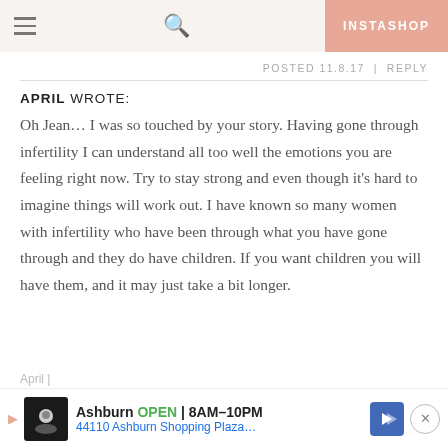INSTASHOP
POSTED 11.8.17 | REPLY
APRIL WROTE:
Oh Jean... I was so touched by your story. Having gone through infertility I can understand all too well the emotions you are feeling right now. Try to stay strong and even though it’s hard to imagine things will work out. I have known so many women with infertility who have been through what you have gone through and they do have children. If you want children you will have them, and it may just take a bit longer.
[Figure (infographic): Advertisement bar: Ashburn OPEN 8AM-10PM, 44110 Ashburn Shopping Plaza...]